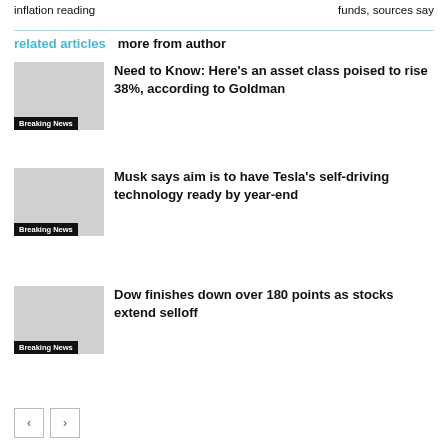inflation reading
funds, sources say
related articles   more from author
Need to Know: Here’s an asset class poised to rise 38%, according to Goldman
Breaking News
Musk says aim is to have Tesla’s self-driving technology ready by year-end
Breaking News
Dow finishes down over 180 points as stocks extend selloff
Breaking News